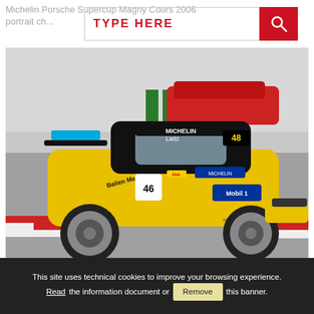Michelin Porsche Supercup Magny Cours 2006 portrait ch...
[Figure (screenshot): Search bar UI with 'TYPE HERE' placeholder text in red and a red search button with magnifying glass icon]
[Figure (photo): Racing photo of a yellow Porsche 911 GT3 Cup car number 48 driven by Lietz, with Michelin and Mobil 1 sponsors, on a race track. Another red car and green barriers visible in background. Website www.hmwelser.com visible on car.]
79509
[Figure (other): Hamburger menu icon (three horizontal lines) in a square border]
This site uses technical cookies to improve your browsing experience. Read the information document or Remove this banner.